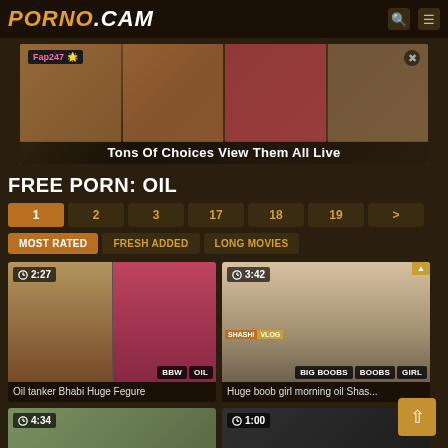PORNO.CAM
[Figure (screenshot): Advertisement banner for Fap247 showing 'Tons Of Choices View Them All Live']
FREE PORN: OIL
Pagination: 1 2 3 17 18 19 >
Filters: MOST RATED | FRESH ADDED | LONG MOVIES
[Figure (screenshot): Video thumbnail: Oil tanker Bhabi Huge Fegure, duration 2:27, tags: BBW, OIL]
Oil tanker Bhabi Huge Fegure
[Figure (screenshot): Video thumbnail: Huge boob girl morning oil Shas..., duration 3:42, tags: BIG BOOBS, BOOBS, GIRL]
Huge boob girl morning oil Shas...
[Figure (screenshot): Video thumbnail, duration 4:34]
[Figure (screenshot): Video thumbnail, duration 1:00]